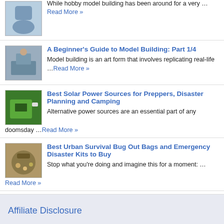While hobby model building has been around for a very … Read More »
A Beginner's Guide to Model Building: Part 1/4
Model building is an art form that involves replicating real-life …Read More »
Best Solar Power Sources for Preppers, Disaster Planning and Camping
Alternative power sources are an essential part of any doomsday …Read More »
Best Urban Survival Bug Out Bags and Emergency Disaster Kits to Buy
Stop what you're doing and imagine this for a moment: … Read More »
Affiliate Disclosure